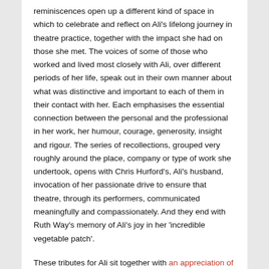reminiscences open up a different kind of space in which to celebrate and reflect on Ali's lifelong journey in theatre practice, together with the impact she had on those she met. The voices of some of those who worked and lived most closely with Ali, over different periods of her life, speak out in their own manner about what was distinctive and important to each of them in their contact with her. Each emphasises the essential connection between the personal and the professional in her work, her humour, courage, generosity, insight and rigour. The series of recollections, grouped very roughly around the place, company or type of work she undertook, opens with Chris Hurford's, Ali's husband, invocation of her passionate drive to ensure that theatre, through its performers, communicated meaningfully and compassionately. And they end with Ruth Way's memory of Ali's joy in her 'incredible vegetable patch'.
These tributes for Ali sit together with an appreciation of her life written for the journal by Katie Normington.